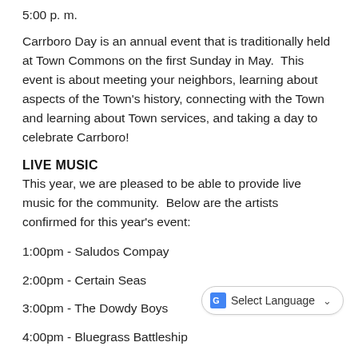5:00 p. m.
Carrboro Day is an annual event that is traditionally held at Town Commons on the first Sunday in May.  This event is about meeting your neighbors, learning about aspects of the Town's history, connecting with the Town and learning about Town services, and taking a day to celebrate Carrboro!
LIVE MUSIC
This year, we are pleased to be able to provide live music for the community.  Below are the artists confirmed for this year's event:
1:00pm - Saludos Compay
2:00pm - Certain Seas
3:00pm - The Dowdy Boys
4:00pm - Bluegrass Battleship